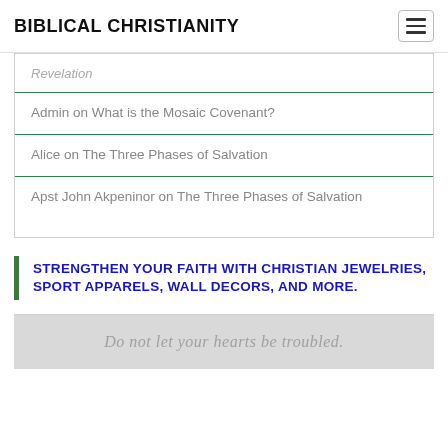BIBLICAL CHRISTIANITY
Revelation
Admin on What is the Mosaic Covenant?
Alice on The Three Phases of Salvation
Apst John Akpeninor on The Three Phases of Salvation
STRENGTHEN YOUR FAITH WITH CHRISTIAN JEWELRIES, SPORT APPARELS, WALL DECORS, AND MORE.
[Figure (illustration): Banner image with cursive text reading 'Do not let your hearts be troubled.' on a light gray background.]